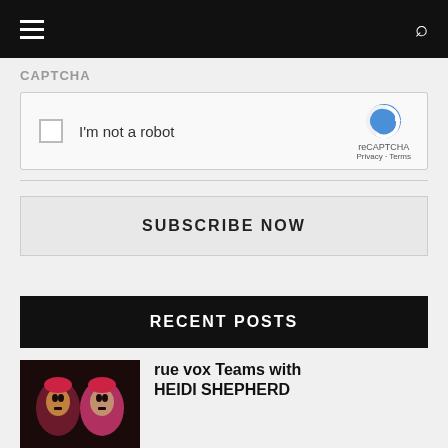☰  🔍
CAPTCHA
[Figure (screenshot): reCAPTCHA widget with checkbox 'I'm not a robot' and reCAPTCHA logo, Privacy and Terms links]
[Figure (screenshot): Subscribe Now button]
RECENT POSTS
[Figure (photo): Two women with face paint / Halloween makeup in dark lighting]
rue vox Teams with HEIDI SHEPHERD